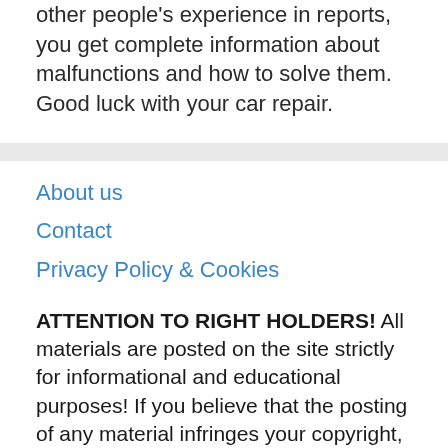other people's experience in reports, you get complete information about malfunctions and how to solve them. Good luck with your car repair.
About us
Contact
Privacy Policy & Cookies
ATTENTION TO RIGHT HOLDERS! All materials are posted on the site strictly for informational and educational purposes! If you believe that the posting of any material infringes your copyright, be sure to contact us through the contact form and your